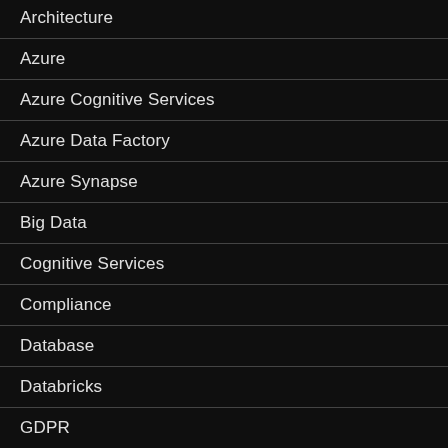Architecture
Azure
Azure Cognitive Services
Azure Data Factory
Azure Synapse
Big Data
Cognitive Services
Compliance
Database
Databricks
GDPR
Infrastructure
IoT